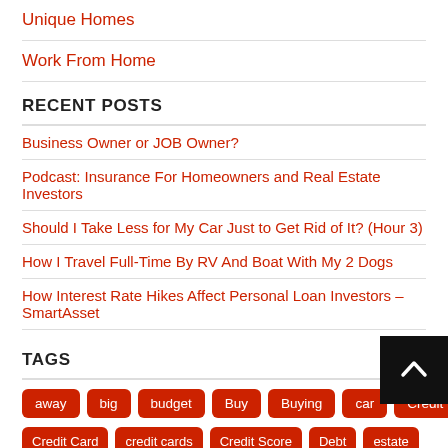Unique Homes
Work From Home
RECENT POSTS
Business Owner or JOB Owner?
Podcast: Insurance For Homeowners and Real Estate Investors
Should I Take Less for My Car Just to Get Rid of It? (Hour 3)
How I Travel Full-Time By RV And Boat With My 2 Dogs
How Interest Rate Hikes Affect Personal Loan Investors – SmartAsset
TAGS
away
big
budget
Buy
Buying
car
Credit
Credit Card
credit cards
Credit Score
Debt
estate
Family
Fees
Finance
FinancialWize
Financial Wize